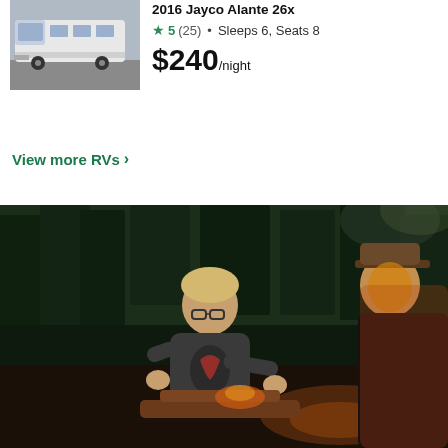[Figure (photo): White motorhome RV parked in a lot, front three-quarter view]
2016 Jayco Alante 26x
★ 5 (25) • Sleeps 6, Seats 8
$240/night
View more RVs >
[Figure (photo): Child with glasses and an adult crouching outdoors around a campfire at dusk in a forest setting]